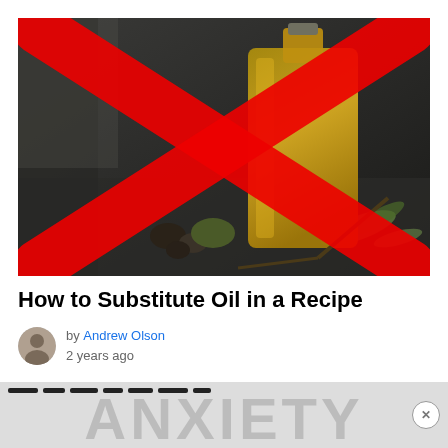[Figure (photo): Photo of olive oil in a glass bottle with olives and olive branches on a dark surface, overlaid with a large red X mark]
How to Substitute Oil in a Recipe
by Andrew Olson
2 years ago
[Figure (screenshot): Advertisement banner partially visible at bottom showing the word ANXIETY in large grey letters with a close button]